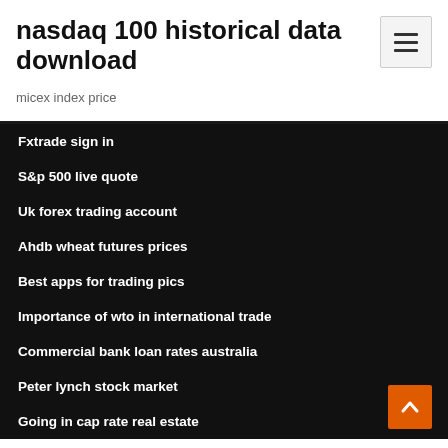nasdaq 100 historical data download
micex index price
Fxtrade sign in
S&p 500 live quote
Uk forex trading account
Ahdb wheat futures prices
Best apps for trading pics
Importance of wto in international trade
Commercial bank loan rates australia
Peter lynch stock market
Going in cap rate real estate